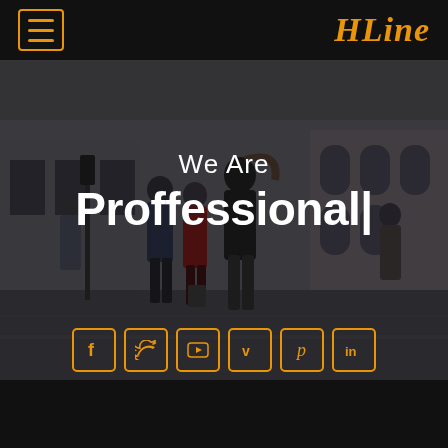HLine
[Figure (photo): Dark-overlaid street scene with people walking in a European city setting]
We Are Proffessional|
[Figure (infographic): Six social media icons in orange-bordered square buttons: Facebook, Twitter, YouTube, Vimeo, Pinterest, LinkedIn]